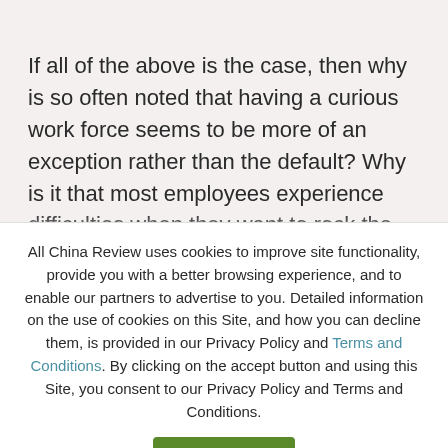If all of the above is the case, then why is so often noted that having a curious work force seems to be more of an exception rather than the default? Why is it that most employees experience difficulties when they want to rock the boat by trying to introduce alternative perspectives and other ways of working? How come that most employees feel that being too curious about their job and what would be possible is often not supported with the
All China Review uses cookies to improve site functionality, provide you with a better browsing experience, and to enable our partners to advertise to you. Detailed information on the use of cookies on this Site, and how you can decline them, is provided in our Privacy Policy and Terms and Conditions. By clicking on the accept button and using this Site, you consent to our Privacy Policy and Terms and Conditions.